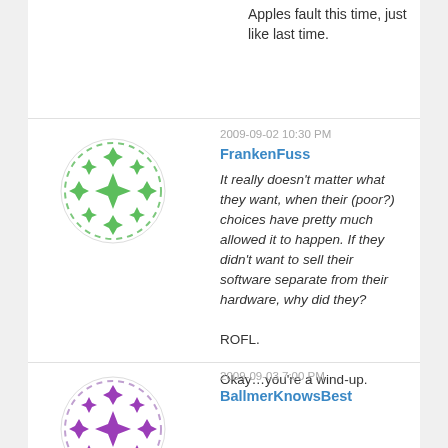Apples fault this time, just like last time.
2009-09-02 10:30 PM
FrankenFuss
It really doesn't matter what they want, when their (poor?) choices have pretty much allowed it to happen. If they didn't want to sell their software separate from their hardware, why did they? ROFL. Okay…you're a wind-up.
[Figure (illustration): Round avatar with green geometric star/snowflake pattern on white background]
2009-09-03 7:00 PM
BallmerKnowsBest
[Figure (illustration): Round avatar with purple geometric star/snowflake pattern on white background]